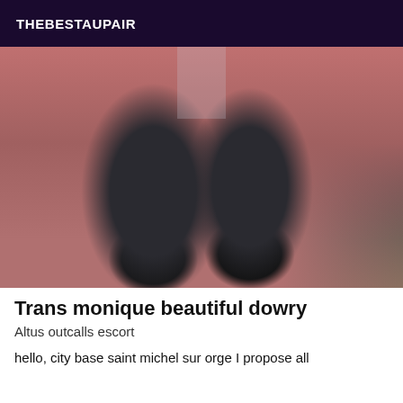THEBESTAUPAIR
[Figure (photo): A photograph showing legs wearing dark stockings and black high heels on a floor]
Trans monique beautiful dowry
Altus outcalls escort
hello, city base saint michel sur orge I propose all